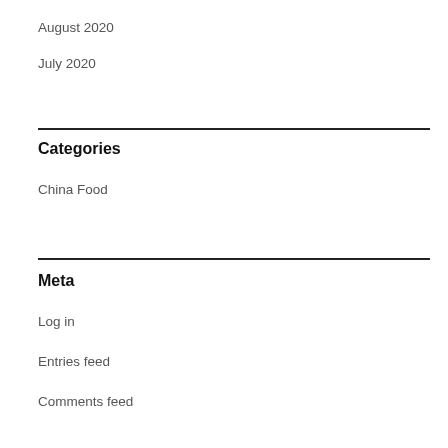August 2020
July 2020
Categories
China Food
Meta
Log in
Entries feed
Comments feed